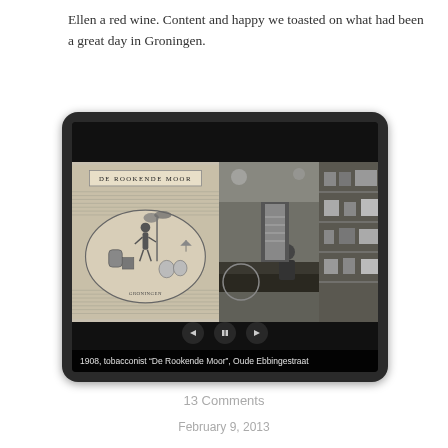Ellen a red wine. Content and happy we toasted on what had been a great day in Groningen.
[Figure (photo): A tablet/device frame showing a slideshow with two images: left image is a vintage engraving/logo for 'De Rookende Moor' tobacconist showing an oval illustration with a figure, barrels, and palm tree; right image is a black and white photograph of the interior of a tobacco shop with a counter and shelves. Navigation controls are visible at the bottom. Caption reads: '1908, tobacconist “De Rookende Moor”, Oude Ebbingestraat']
13 Comments
February 9, 2013